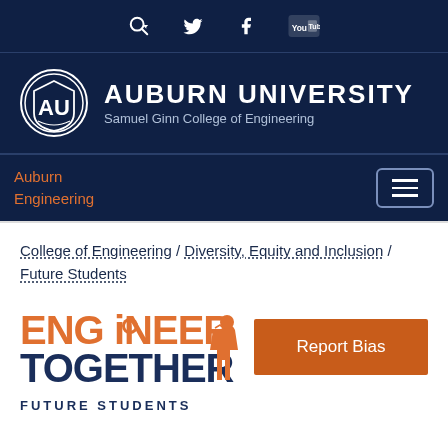Search, Twitter, Facebook, YouTube icons navigation bar
[Figure (logo): Auburn University Samuel Ginn College of Engineering logo with AU shield emblem on dark navy background]
Auburn Engineering
College of Engineering / Diversity, Equity and Inclusion / Future Students
[Figure (logo): Engineer Together Future Students logo in orange and navy blue text with gear icon, alongside Report Bias orange button]